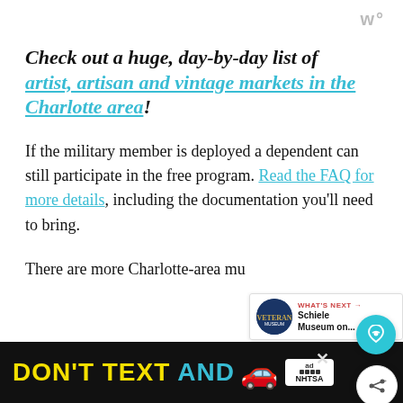w°
Check out a huge, day-by-day list of artist, artisan and vintage markets in the Charlotte area!
If the military member is deployed a dependent can still participate in the free program. Read the FAQ for more details, including the documentation you'll need to bring.
There are more Charlotte-area mu... than ever participating.
[Figure (screenshot): Bottom ad bar: DON'T TEXT AND [car emoji] with ad badge and NHTSA logo on black background]
[Figure (screenshot): WHAT'S NEXT callout: Schiele Museum on...]